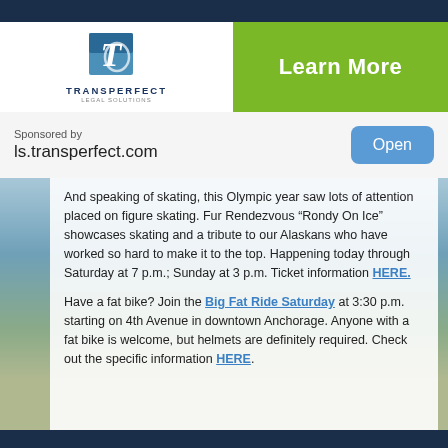[Figure (logo): TransPerfect logo with stylized T/C icon and company name]
Learn More
Sponsored by
ls.transperfect.com
Open
And speaking of skating, this Olympic year saw lots of attention placed on figure skating. Fur Rendezvous “Rondy On Ice” showcases skating and a tribute to our Alaskans who have worked so hard to make it to the top. Happening today through Saturday at 7 p.m.; Sunday at 3 p.m. Ticket information HERE.
Have a fat bike? Join the Big Fat Ride Saturday at 3:30 p.m. starting on 4th Avenue in downtown Anchorage. Anyone with a fat bike is welcome, but helmets are definitely required. Check out the specific information HERE.